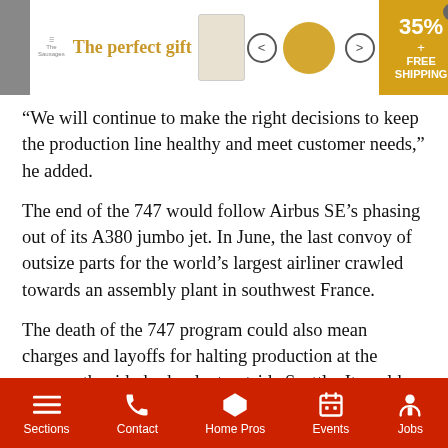[Figure (screenshot): Advertisement banner: 'The perfect gift' with bowl image, arrows, 35% off and Free Shipping promo]
“We will continue to make the right decisions to keep the production line healthy and meet customer needs,” he added.
The end of the 747 would follow Airbus SE’s phasing out of its A380 jumbo jet. In June, the last convoy of outsize parts for the world’s largest airliner crawled towards an assembly plant in southwest France.
The death of the 747 program could also mean charges and layoffs for halting production at the mammoth wide-body plant outside Seattle. It could also have financial implications on newer programs such as the 787 Dreamliner and the latest model of 777, which would have to bear a larger share of the plant’s huge overhead if the 747 line went dark.
Sections  Contact  Home Pros  Events  Jobs